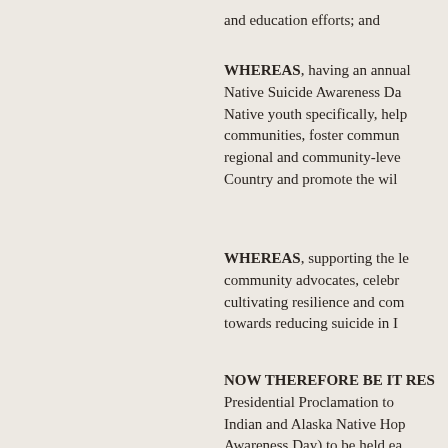and education efforts; and
WHEREAS, having an annual Native Suicide Awareness Day for Native youth specifically, help communities, foster community regional and community-level Country and promote the will
WHEREAS, supporting the leadership of community advocates, celebrating cultivating resilience and community towards reducing suicide in Indian
NOW THEREFORE BE IT RESOLVED Presidential Proclamation to Indian and Alaska Native Hope (Suicide Awareness Day) to be held each and